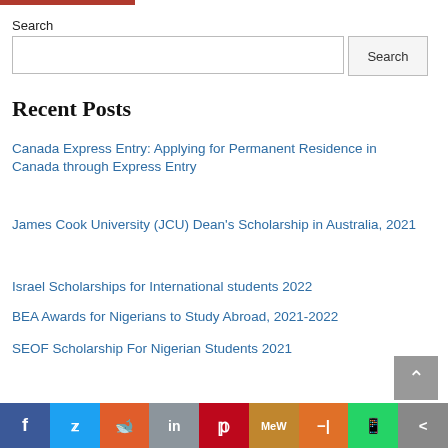Search
Recent Posts
Canada Express Entry: Applying for Permanent Residence in Canada through Express Entry
James Cook University (JCU) Dean's Scholarship in Australia, 2021
Israel Scholarships for International students 2022
BEA Awards for Nigerians to Study Abroad, 2021-2022
SEOF Scholarship For Nigerian Students 2021
Social sharing bar: Facebook, Twitter, Reddit, LinkedIn, Pinterest, MeWe, Mix, WhatsApp, More